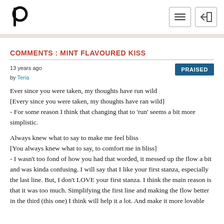Poemhunter logo with hamburger menu and login icons
COMMENTS : MINT FLAVOURED KISS
13 years ago
by Teria
PRAISED
Ever since you were taken, my thoughts have run wild
[Every since you were taken, my thoughts have ran wild]
- For some reason I think that changing that to 'run' seems a bit more simplistic.

Always knew what to say to make me feel bliss
[You always knew what to say, to comfort me in bliss]
- I wasn't too fond of how you had that worded, it messed up the flow a bit and was kinda confusing. I will say that I like your first stanza, especially the last line. But, I don't LOVE your first stanza. I think the main reason is that it was too much. Simplifying the first line and making the flow better in the third (this one) I think will help it a lot. And make it more lovable